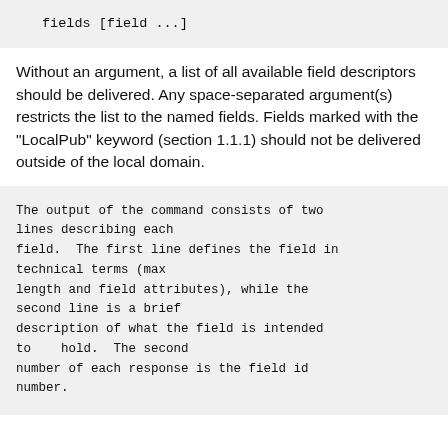fields [field ...]
Without an argument, a list of all available field descriptors should be delivered. Any space-separated argument(s) restricts the list to the named fields. Fields marked with the "LocalPub" keyword (section 1.1.1) should not be delivered outside of the local domain.
The output of the command consists of two lines describing each
    field.  The first line defines the field in technical terms (max
    length and field attributes), while the second line is a brief
    description of what the field is intended to    hold.  The second
    number of each response is the field id number.